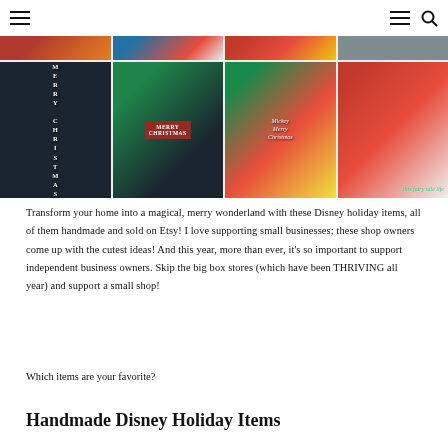Navigation header with hamburger menu icons and search icon
[Figure (photo): Collage of 8 Disney holiday/Christmas themed handmade items: wreaths, banners, Mickey/Minnie decorations, Merry Christmas signs, cards, aprons. Bottom right cell has 'this fairy tale life' watermark in teal cursive.]
Transform your home into a magical, merry wonderland with these Disney holiday items, all of them handmade and sold on Etsy! I love supporting small businesses; these shop owners come up with the cutest ideas! And this year, more than ever, it's so important to support independent business owners. Skip the big box stores (which have been THRIVING all year) and support a small shop!
Which items are your favorite?
Handmade Disney Holiday Items